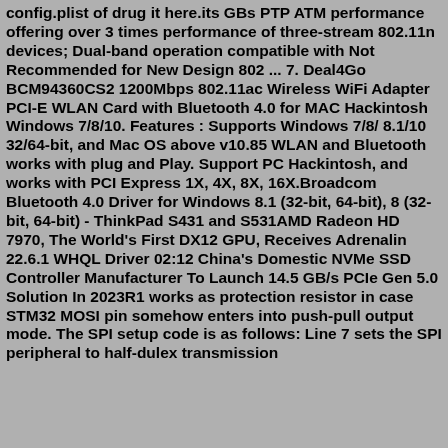config.plist of drug it here.its GBs PTP ATM performance offering over 3 times performance of three-stream 802.11n devices; Dual-band operation compatible with Not Recommended for New Design 802 ... 7. Deal4Go BCM94360CS2 1200Mbps 802.11ac Wireless WiFi Adapter PCI-E WLAN Card with Bluetooth 4.0 for MAC Hackintosh Windows 7/8/10. Features : Supports Windows 7/8/ 8.1/10 32/64-bit, and Mac OS above v10.85 WLAN and Bluetooth works with plug and Play. Support PC Hackintosh, and works with PCI Express 1X, 4X, 8X, 16X.Broadcom Bluetooth 4.0 Driver for Windows 8.1 (32-bit, 64-bit), 8 (32-bit, 64-bit) - ThinkPad S431 and S531AMD Radeon HD 7970, The World's First DX12 GPU, Receives Adrenalin 22.6.1 WHQL Driver 02:12 China's Domestic NVMe SSD Controller Manufacturer To Launch 14.5 GB/s PCIe Gen 5.0 Solution In 2023R1 works as protection resistor in case STM32 MOSI pin somehow enters into push-pull output mode. The SPI setup code is as follows: Line 7 sets the SPI peripheral to half-dulex transmission